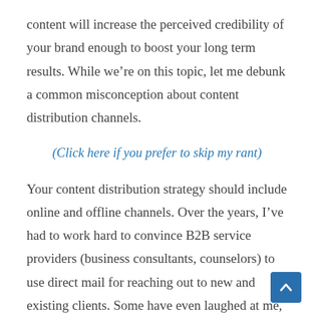content will increase the perceived credibility of your brand enough to boost your long term results. While we're on this topic, let me debunk a common misconception about content distribution channels.
(Click here if you prefer to skip my rant)
Your content distribution strategy should include online and offline channels. Over the years, I've had to work hard to convince B2B service providers (business consultants, counselors) to use direct mail for reaching out to new and existing clients. Some have even laughed at me, claiming that email is